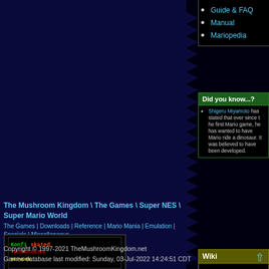Guide & FAQ
Manual
Mariopedia
Did you know...?
Shigeru Miyamoto has stated that ever since the first Mario game, he has wanted to have Mario ride a dinosaur. It was believed to have been developed.
Wiki
Edit
The wiki contains user submitted content and may not reflect the views of this site for appropriateness or factual accuracy. Wiki help.
The Mushroom Kingdom \ The Games \ Super NES \ Super Mario World
The Games | Downloads | Reference | Mario Mania | Emulation | Specials | Miscellaneous
Copyright © 1997-2021 TheMushroomKingdom.net
Games database last modified: Sunday, 03-Jul-2022 14:24:51 CDT